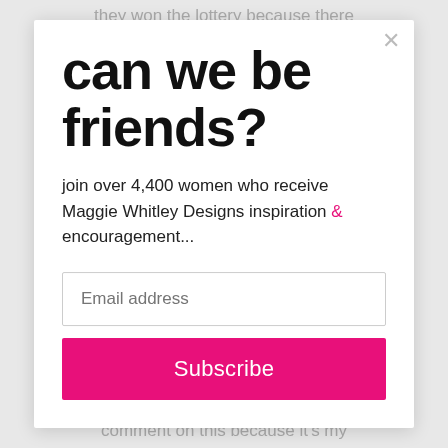they won the lottery because there are soooo many beautiful items
can we be friends?
join over 4,400 women who receive Maggie Whitley Designs inspiration & encouragement...
Email address
Subscribe
So with every item I kept thinking, I'll comment on this because it's my